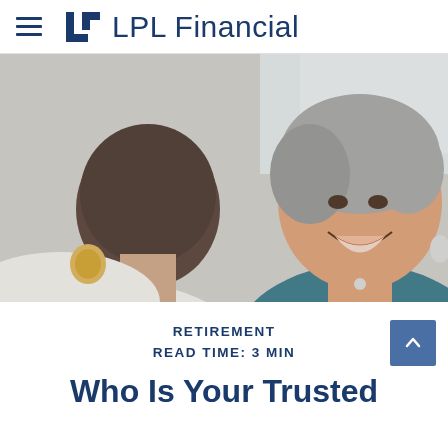LPL Financial
[Figure (photo): Two women in conversation, one with her back to camera with braided hair and gold earring, the other an older Asian woman smiling warmly, wearing a dark teal top, in a bright indoor setting]
RETIREMENT
READ TIME: 3 MIN
Who Is Your Trusted